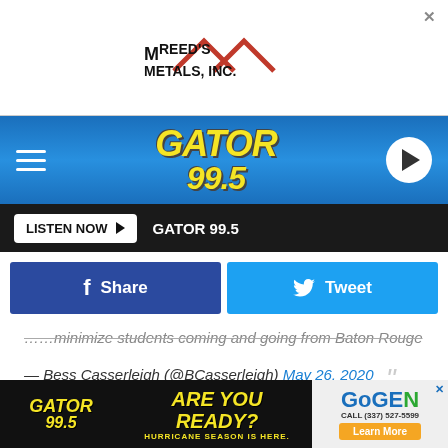[Figure (logo): Reed's Metals Inc. advertisement banner with roof/house logo]
[Figure (logo): Gator 99.5 radio station navigation bar with hamburger menu and play button]
[Figure (screenshot): Listen Now button bar with GATOR 99.5 text]
...minimize students coming and going from Baton Rouge
— Bess Casserleigh (@BCasserleigh) May 26, 2020
With the CDC guidelines for helping to prevent the spread of COVID-19, it does say that wearing masks in schools is highly suggested for students over the age of two years old
[Figure (photo): Gator 99.5 Are You Ready Hurricane Season advertisement banner at bottom]